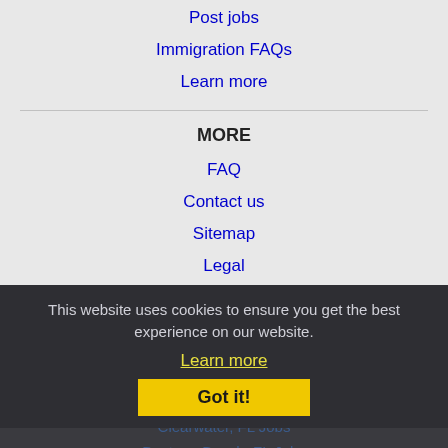Post jobs
Immigration FAQs
Learn more
MORE
FAQ
Contact us
Sitemap
Legal
Privacy
This website uses cookies to ensure you get the best experience on our website.
Learn more
Got it!
NEARBY CITIES
Brandon, FL Jobs
Clearwater, FL Jobs
Daytona Beach, FL Jobs
Deltona, FL Jobs
Egypt Lake-Leto, FL Jobs